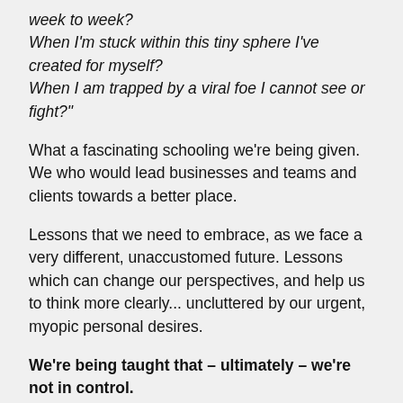week to week?
When I'm stuck within this tiny sphere I've created for myself?
When I am trapped by a viral foe I cannot see or fight?"
What a fascinating schooling we're being given. We who would lead businesses and teams and clients towards a better place.
Lessons that we need to embrace, as we face a very different, unaccustomed future. Lessons which can change our perspectives, and help us to think more clearly... uncluttered by our urgent, myopic personal desires.
We're being taught that – ultimately – we're not in control.